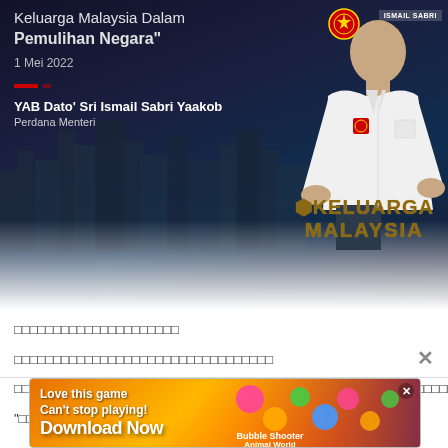[Figure (photo): Official government event banner showing YAB Dato' Sri Ismail Sabri Yaakob, Prime Minister of Malaysia, with text 'Keluarga Malaysia Dalam Pemulihan Negara', dated 1 Mei 2022, with Keluarga Malaysia logo]
□□□□□□□□□□□□□□□□□□□□
□□□□□□□□□□□□□□□□□□□□□□□□□□□□□□□□
□□□□□□□□□□□□□"□□□□□□□□□□□□□□"□□□□□□□□□□□□□□□□□□□□□□□□□□□□□□□□□□□□□□
"□□□□□□□□□□□□□□□□□□□□□□□□□□□□□□□"
[Figure (photo): Advertisement banner: Love this game Can't stop playing! Download Now - Bubble Shooter Animal World]